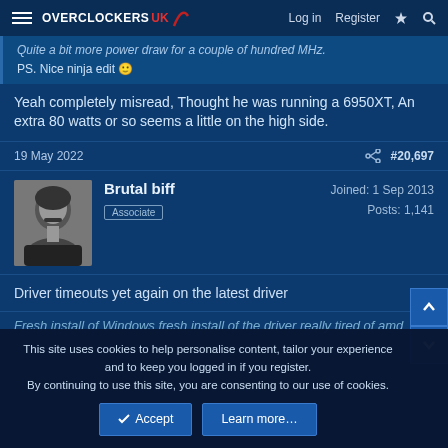Overclockers UK — Log in  Register
Quite a bit more power draw for a couple of hundred MHz.
PS. Nice ninja edit 🙂
Yeah completely misread, Thought he was running a 6950XT, An extra 80 watts or so seems a little on the high side.
19 May 2022  #20,697
Brutal biff
Associate
Joined: 1 Sep 2013
Posts: 1,141
Driver timeouts yet again on the latest driver
Fresh install of Windows fresh install of the driver really tired of amd
This site uses cookies to help personalise content, tailor your experience and to keep you logged in if you register.
By continuing to use this site, you are consenting to our use of cookies.